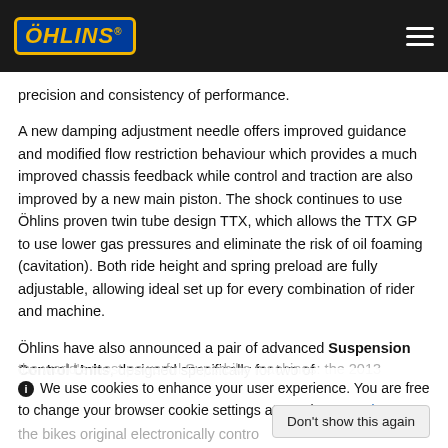Öhlins [logo and navigation bar]
precision and consistency of performance.
A new damping adjustment needle offers improved guidance and modified flow restriction behaviour which provides a much improved chassis feedback while control and traction are also improved by a new main piston. The shock continues to use Öhlins proven twin tube design TTX, which allows the TTX GP to use lower gas pressures and eliminate the risk of oil foaming (cavitation). Both ride height and spring preload are fully adjustable, allowing ideal set up for every combination of rider and machine.
Öhlins have also announced a pair of advanced Suspension Control Units, designed specifically for two of
the world's most powerful Superbike machines: the 2013
ℹ We use cookies to enhance your user experience. You are free to change your browser cookie settings at any time. Read more
the bikes original electronically contro
further enhance the machines perform
Don't show this again